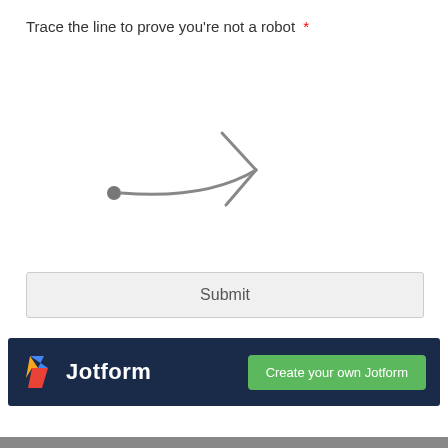Trace the line to prove you're not a robot *
[Figure (illustration): CAPTCHA widget showing a curved arrow line starting from a filled circle dot on the left and ending with two arrowhead lines pointing right, drawn in gray on white background]
Submit
[Figure (logo): Jotform branding bar with dark navy background, Jotform logo with colorful slash icon on left, and green 'Create your own Jotform' button on right]